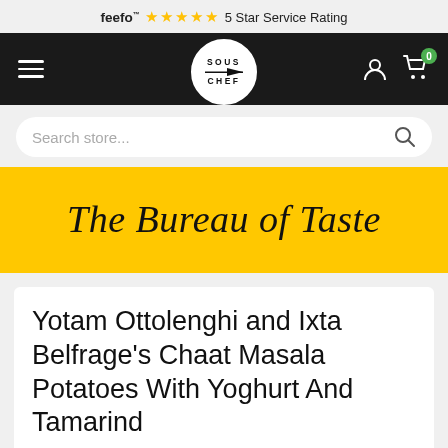feefo 5 Star Service Rating
[Figure (logo): Sous Chef logo in circular badge with knife graphic, white on dark nav bar]
[Figure (screenshot): Search store... input field with magnifying glass icon]
[Figure (illustration): Yellow banner with cursive script text: The Bureau of Taste]
Yotam Ottolenghi and Ixta Belfrage's Chaat Masala Potatoes With Yoghurt And Tamarind